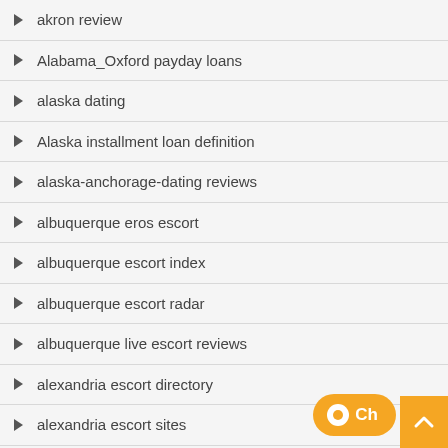akron review
Alabama_Oxford payday loans
alaska dating
Alaska installment loan definition
alaska-anchorage-dating reviews
albuquerque eros escort
albuquerque escort index
albuquerque escort radar
albuquerque live escort reviews
alexandria escort directory
alexandria escort sites